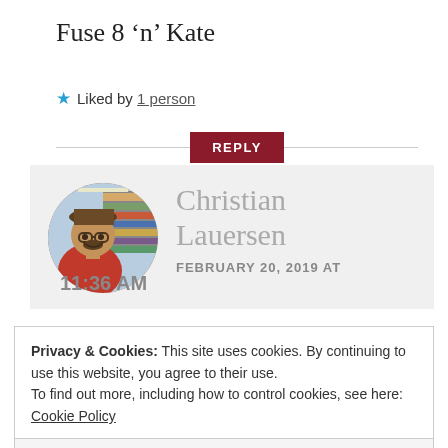Fuse 8 'n' Kate
★ Liked by 1 person
REPLY
[Figure (photo): Circular avatar photo of Christian Lauersen, a man with glasses and a beard wearing a red shirt, photographed in a library with bookshelves behind him]
Christian Lauersen
FEBRUARY 20, 2019 AT 11:36 AM
Privacy & Cookies: This site uses cookies. By continuing to use this website, you agree to their use.
To find out more, including how to control cookies, see here: Cookie Policy
Close and accept